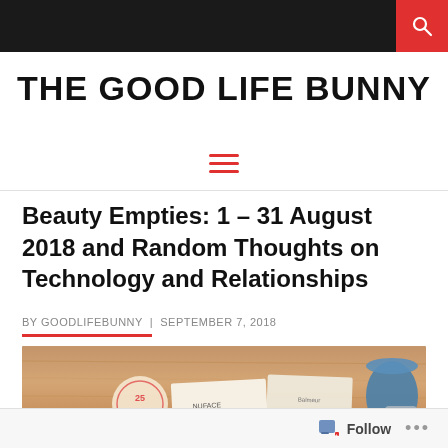THE GOOD LIFE BUNNY
Beauty Empties: 1 – 31 August 2018 and Random Thoughts on Technology and Relationships
BY GOODLIFEBUNNY | SEPTEMBER 7, 2018
[Figure (photo): Flatlay photo on a wooden table showing beauty product packaging and cards including NuFACE and Balmeur branded items, with a blue cylindrical product on the right]
Follow